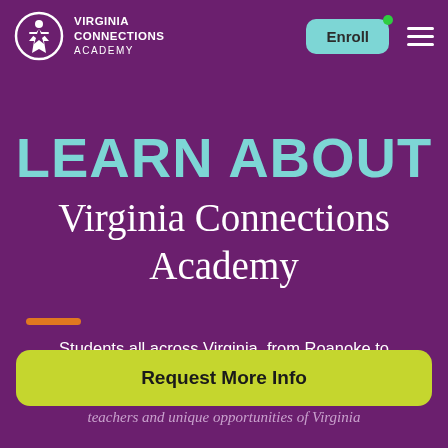[Figure (logo): Virginia Connections Academy logo — circular white icon with a stylized figure, beside bold white text 'VIRGINIA CONNECTIONS ACADEMY']
[Figure (screenshot): Enroll button (teal/cyan rounded rectangle) with a green dot indicator, and a hamburger menu icon, in the top-right navigation area]
LEARN ABOUT Virginia Connections Academy
Students all across Virginia, from Roanoke to
[Figure (other): Request More Info button — yellow-green rounded rectangle with dark bold text]
teachers and unique opportunities of Virginia